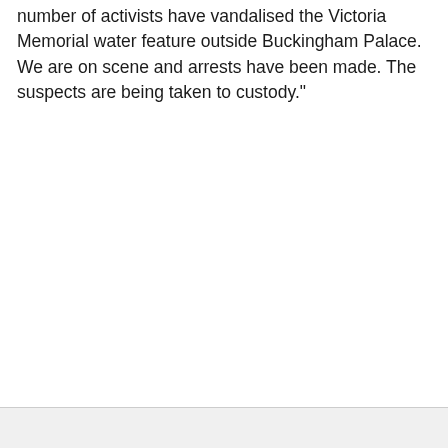number of activists have vandalised the Victoria Memorial water feature outside Buckingham Palace. We are on scene and arrests have been made. The suspects are being taken to custody."